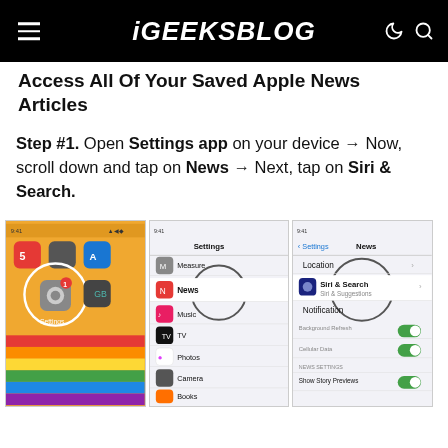iGEEKSBLOG
Access All Of Your Saved Apple News Articles
Step #1. Open Settings app on your device → Now, scroll down and tap on News → Next, tap on Siri & Search.
[Figure (screenshot): Three iPhone screenshots showing: (1) iOS home screen with Settings app highlighted, (2) Settings app list with News highlighted, (3) News settings page with Siri & Search highlighted]